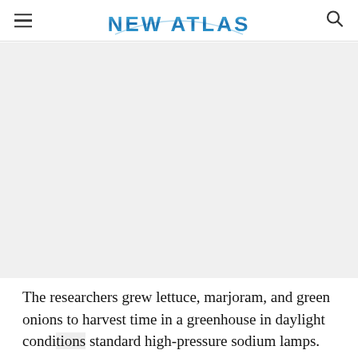NEW ATLAS
[Figure (photo): Large image area (photo placeholder, content not visible) in a greenhouse or plant growing environment]
The researchers grew lettuce, marjoram, and green onions to harvest time in a greenhouse in daylight condi[tions] standard high-pressure sodium lamps. The plants
[Figure (other): Advertisement overlay: red banner reading 'Text LiveLongDC to 888-811 to find naloxone near you.' with logo and close button]